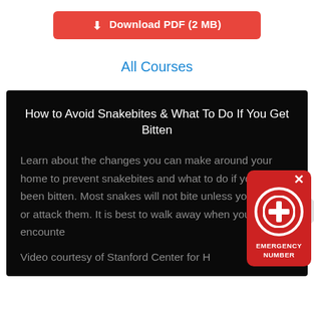[Figure (screenshot): Red Download PDF (2 MB) button with download icon]
All Courses
How to Avoid Snakebites & What To Do If You Get Bitten
Learn about the changes you can make around your home to prevent snakebites and what to do if you have been bitten. Most snakes will not bite unless you scare or attack them. It is best to walk away when you encounter
Video courtesy of Stanford Center for H